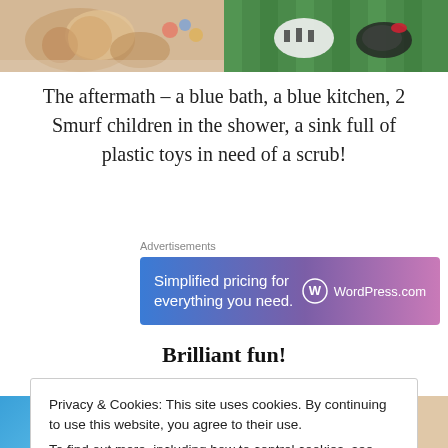[Figure (photo): Two photos side by side at the top: left shows baked goods or clay figures on a surface, right shows toy animals on a green striped background]
The aftermath – a blue bath, a blue kitchen, 2 Smurf children in the shower, a sink full of plastic toys in need of a scrub!
[Figure (screenshot): WordPress.com advertisement banner: 'Simplified pricing for everything you need.' with WordPress.com logo]
Brilliant fun!
Privacy & Cookies: This site uses cookies. By continuing to use this website, you agree to their use.
To find out more, including how to control cookies, see here: Cookie Policy
[Figure (photo): Bottom strip: left side shows pink background with white text 'twas', right side shows a person's face]